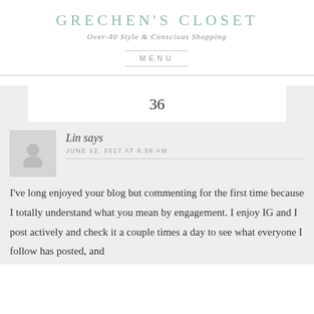GRECHEN'S CLOSET
Over-40 Style & Conscious Shopping
MENU
36
Lin says
JUNE 12, 2017 AT 8:56 AM
I've long enjoyed your blog but commenting for the first time because I totally understand what you mean by engagement. I enjoy IG and I post actively and check it a couple times a day to see what everyone I follow has posted, and